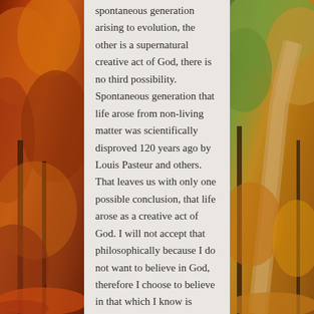[Figure (illustration): Autumn forest background split into two side panels (left: red/orange fall foliage, right: green/orange forest road), with a semi-transparent light gray text panel in the center.]
spontaneous generation arising to evolution, the other is a supernatural creative act of God, there is no third possibility. Spontaneous generation that life arose from non-living matter was scientifically disproved 120 years ago by Louis Pasteur and others. That leaves us with only one possible conclusion, that life arose as a creative act of God. I will not accept that philosophically because I do not want to believe in God, therefore I choose to believe in that which I know is scientifically impossible, spontaneous generation arising to evolution."
George Wald~Harvard